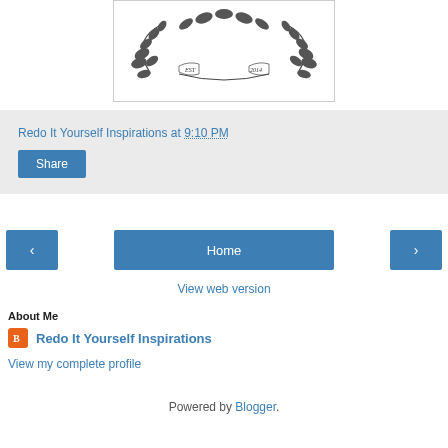[Figure (illustration): A decorative wreath logo with botanical leaves and banners reading EST and 2014]
Redo It Yourself Inspirations at 9:10 PM
Share
Home
View web version
About Me
Redo It Yourself Inspirations
View my complete profile
Powered by Blogger.